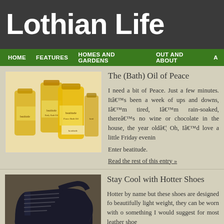Lothian Life
HOME   FEATURES   HOMES AND GARDENS   OUT AND ABOUT   A
The (Bath) Oil of Peace
[Figure (photo): Several bottles of beatitude bath oil, golden yellow in color, arranged together]
I need a bit of Peace. Just a few minutes. It’s been a week of ups and downs, I’m tired, I’m rain-soaked, there’s no wine or chocolate in the house, the year old… Oh, I’d love a little Friday evenin
Enter beatitude.
Read the rest of this entry »
Stay Cool with Hotter Shoes
[Figure (photo): A pair of dark navy/black leather Hotter shoes on gravelly ground]
Hotter by name but these shoes are designed fo beautifully light weight, they can be worn with o something I would suggest for most leather shoe